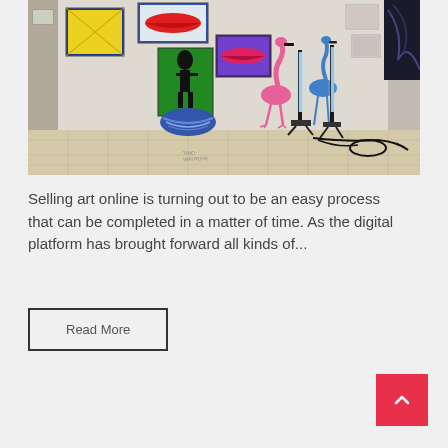[Figure (photo): An art gallery interior with colorful pop-art prints and posters on the white walls, two flamingo sculptures (pink and blue) and neon light stands on the floor, tile flooring visible, with an artist signature reading 'TINO VAN RUYK' on the floor.]
Selling art online is turning out to be an easy process that can be completed in a matter of time. As the digital platform has brought forward all kinds of...
Read More